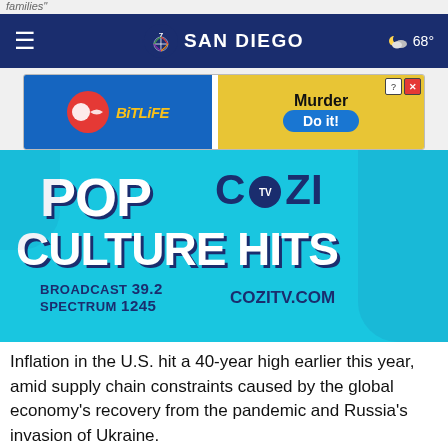NBC 7 San Diego | 68°
[Figure (screenshot): Advertisement banner: BitLife app ad with 'Murder Do it!' on yellow background]
[Figure (screenshot): COZI TV advertisement: POP CULTURE HITS - BROADCAST 39.2, SPECTRUM 1245, COZITV.COM]
Inflation in the U.S. hit a 40-year high earlier this year, amid supply chain constraints caused by the global economy's recovery from the pandemic and Russia's invasion of Ukraine.
Stay informed about local news and